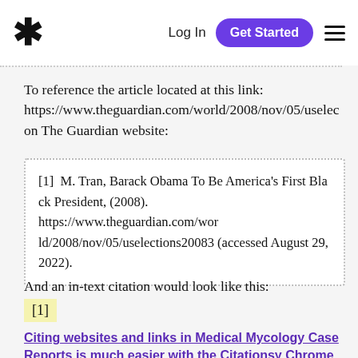* Log In Get Started ☰
To reference the article located at this link: https://www.theguardian.com/world/2008/nov/05/uselec on The Guardian website:
[1] M. Tran, Barack Obama To Be America's First Black President, (2008). https://www.theguardian.com/world/2008/nov/05/uselections20083 (accessed August 29, 2022).
And an in-text citation would look like this:
[1]
Citing websites and links in Medical Mycology Case Reports is much easier with the Citationsy Chrome